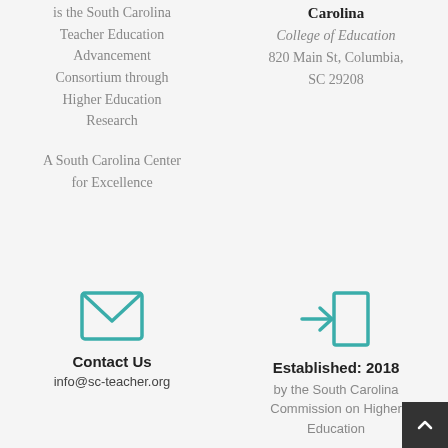is the South Carolina Teacher Education Advancement Consortium through Higher Education Research
Carolina
College of Education
820 Main St, Columbia, SC 29208
A South Carolina Center for Excellence
[Figure (illustration): Teal envelope icon representing email/contact]
Contact Us
info@sc-teacher.org
[Figure (illustration): Teal login/enter door icon]
Established: 2018
by the South Carolina Commission on Higher Education